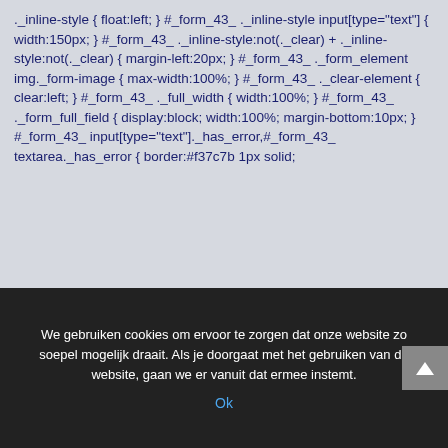._inline-style { float:left; } #_form_43_ ._inline-style input[type="text"] { width:150px; } #_form_43_ ._inline-style:not(._clear) + ._inline-style:not(._clear) { margin-left:20px; } #_form_43_ ._form_element img._form-image { max-width:100%; } #_form_43_ ._clear-element { clear:left; } #_form_43_ ._full_width { width:100%; } #_form_43_ ._form_full_field { display:block; width:100%; margin-bottom:10px; } #_form_43_ input[type="text"]._has_error,#_form_43_ textarea._has_error { border:#f37c7b 1px solid;
We gebruiken cookies om ervoor te zorgen dat onze website zo soepel mogelijk draait. Als je doorgaat met het gebruiken van de website, gaan we er vanuit dat ermee instemt.
Ok